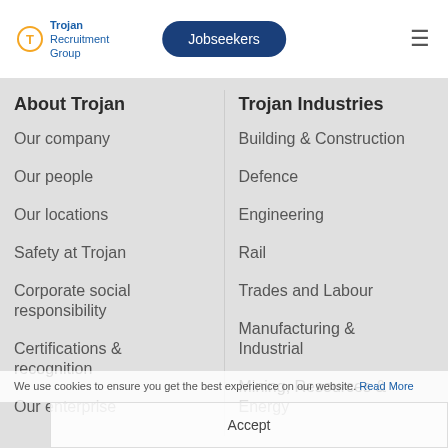[Figure (logo): Trojan Recruitment Group logo with orange circular T icon and blue text]
Jobseekers
About Trojan
Our company
Our people
Our locations
Safety at Trojan
Corporate social responsibility
Certifications & recognition
Our enterprise
Trojan Industries
Building & Construction
Defence
Engineering
Rail
Trades and Labour
Manufacturing & Industrial
Mining, Resources & Energy
We use cookies to ensure you get the best experience on our website. Read More
Accept